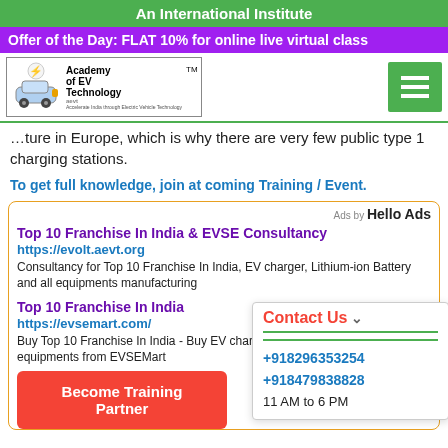An International Institute
Offer of the Day: FLAT 10% for online live virtual class
[Figure (logo): Academy of EV Technology (aevt) logo with electric car icon]
...future in Europe, which is why there are very few public type 1 charging stations.
To get full knowledge, join at coming Training / Event.
Ads by Hello Ads
Top 10 Franchise In India & EVSE Consultancy
https://evolt.aevt.org
Consultancy for Top 10 Franchise In India, EV charger, Lithium-ion Battery and all equipments manufacturing
Top 10 Franchise In India
https://evsemart.com/
Buy Top 10 Franchise In India - Buy EV charger, and all equipments from EVSEMart
Contact Us
+918296353254
+918479838828
11 AM to 6 PM
Become Training Partner